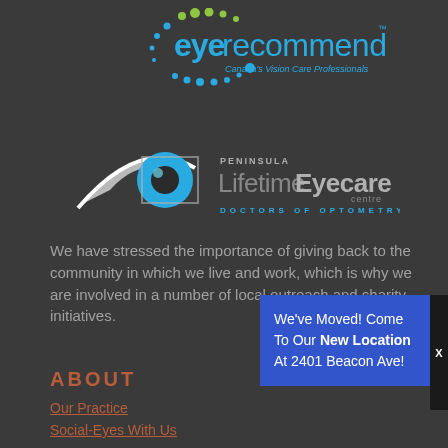[Figure (logo): Eye Recommend logo — 'eyerecommend' in teal with green dots arc, tagline 'Canada's Vision Care Professionals' in italic teal]
[Figure (logo): Peninsula Lifetime Eyecare Centre — Doctors of Optometry logo with stylized eye graphic]
We have stressed the importance of giving back to the community in which we live and work, which is why we are involved in a number of local outreach and charity initiatives.
ABOUT
Our Practice
Social-Eyes With Us
We've Moved! Come To Our New Location At 2401 Beacon Ave!